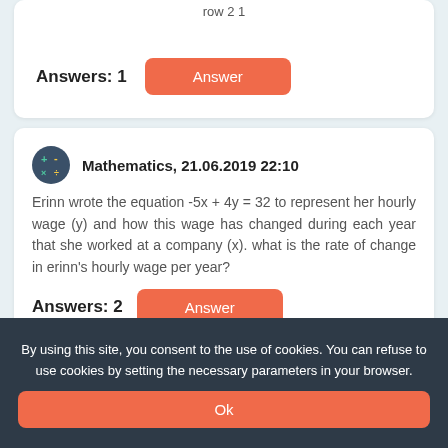row 21
Answers: 1
Answer
Mathematics, 21.06.2019 22:10
Erinn wrote the equation -5x + 4y = 32 to represent her hourly wage (y) and how this wage has changed during each year that she worked at a company (x). what is the rate of change in erinn's hourly wage per year?
Answers: 2
Answer
By using this site, you consent to the use of cookies. You can refuse to use cookies by setting the necessary parameters in your browser.
Ok